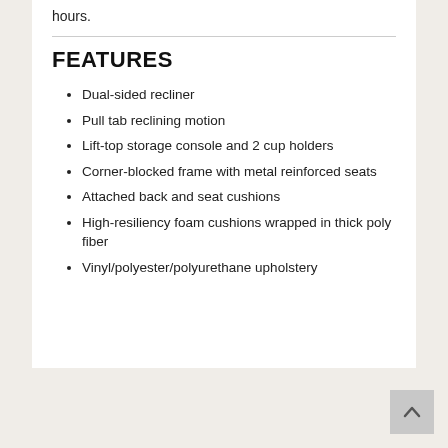hours.
FEATURES
Dual-sided recliner
Pull tab reclining motion
Lift-top storage console and 2 cup holders
Corner-blocked frame with metal reinforced seats
Attached back and seat cushions
High-resiliency foam cushions wrapped in thick poly fiber
Vinyl/polyester/polyurethane upholstery